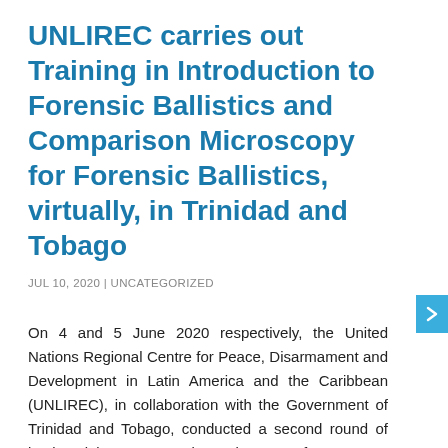UNLIREC carries out Training in Introduction to Forensic Ballistics and Comparison Microscopy for Forensic Ballistics, virtually, in Trinidad and Tobago
JUL 10, 2020 | UNCATEGORIZED
On 4 and 5 June 2020 respectively, the United Nations Regional Centre for Peace, Disarmament and Development in Latin America and the Caribbean (UNLIREC), in collaboration with the Government of Trinidad and Tobago, conducted a second round of basic training on comparison microscopy for